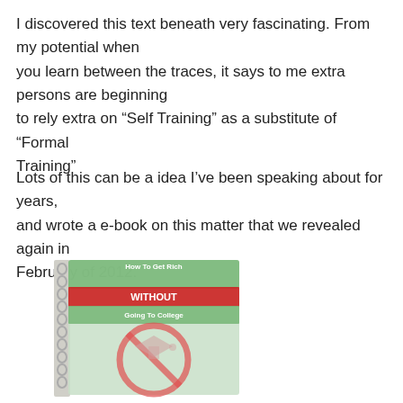I discovered this text beneath very fascinating. From my potential when you learn between the traces, it says to me extra persons are beginning to rely extra on “Self Training” as a substitute of “Formal Training”
Lots of this can be a idea I’ve been speaking about for years, and wrote a e-book on this matter that we revealed again in February of 2012.
[Figure (illustration): Book cover image: 'How To Get Rich WITHOUT Going To College' with a red no-symbol over a graduation cap, notebook/spiral-bound style cover in light blue/green tones.]